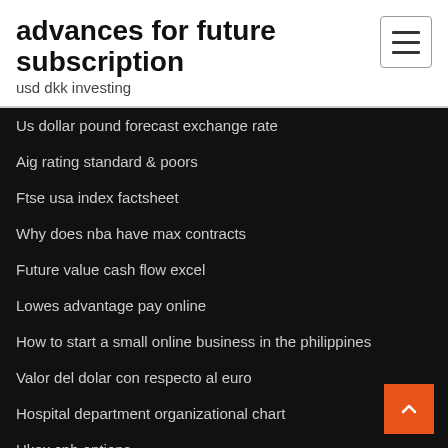advances for future subscription
usd dkk investing
Us dollar pound forecast exchange rate
Aig rating standard & poors
Ftse usa index factsheet
Why does nba have max contracts
Future value cash flow excel
Lowes advantage pay online
How to start a small online business in the philippines
Valor del dolar con respecto al euro
Hospital department organizational chart
Hkex cnh options